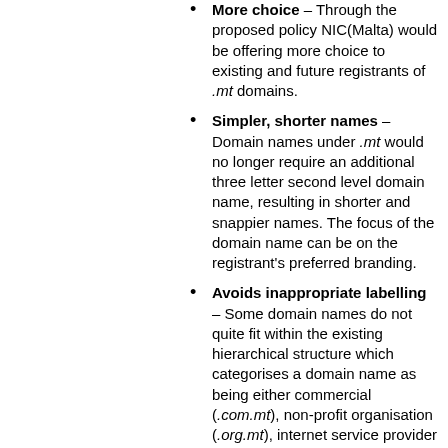More choice – Through the proposed policy NIC(Malta) would be offering more choice to existing and future registrants of .mt domains.
Simpler, shorter names – Domain names under .mt would no longer require an additional three letter second level domain name, resulting in shorter and snappier names. The focus of the domain name can be on the registrant's preferred branding.
Avoids inappropriate labelling – Some domain names do not quite fit within the existing hierarchical structure which categorises a domain name as being either commercial (.com.mt), non-profit organisation (.org.mt), internet service provider (.net.mt), educational (.edu.mt) or governmental (.gov.mt). Thus, for example, individuals may register their personal domain names without any hindrance.
Follows similar changes in the wider Internet – Other countries have adopted similar changes to their policies, such as for example in the United Kingdom (.uk) and New Zealand (.nz). In addition, IANA has recently introduced a large number of generic top- level domain names which